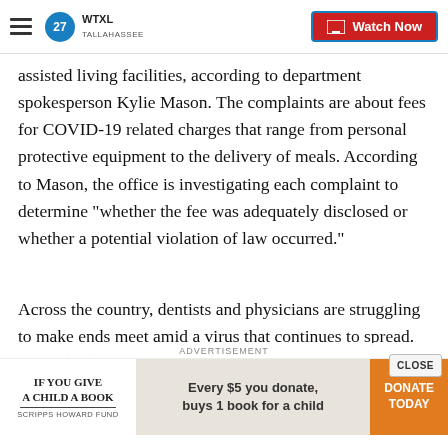WTXL TALLAHASSEE — Watch Now
assisted living facilities, according to department spokesperson Kylie Mason. The complaints are about fees for COVID-19 related charges that range from personal protective equipment to the delivery of meals. According to Mason, the office is investigating each complaint to determine "whether the fee was adequately disclosed or whether a potential violation of law occurred."
Across the country, dentists and physicians are struggling to make ends meet amid a virus that continues to spread. Recently the American Medic
[Figure (other): Advertisement banner: IF YOU GIVE A CHILD A BOOK - SCRIPPS HOWARD FUND. 'Every $5 you donate, buys 1 book for a child' with DONATE TODAY button in orange.]